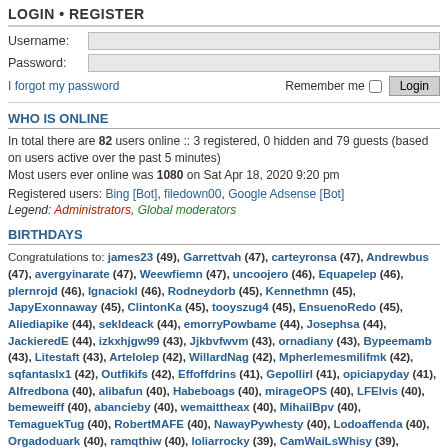LOGIN • REGISTER
Username: [input field]
Password: [input field]
I forgot my password    Remember me □  Login
WHO IS ONLINE
In total there are 82 users online :: 3 registered, 0 hidden and 79 guests (based on users active over the past 5 minutes)
Most users ever online was 1080 on Sat Apr 18, 2020 9:20 pm
Registered users: Bing [Bot], filedown00, Google Adsense [Bot]
Legend: Administrators, Global moderators
BIRTHDAYS
Congratulations to: james23 (49), Garrettvah (47), carteyronsa (47), Andrewbus (47), avergyinarate (47), Weewfiemn (47), uncoojero (46), Equapelep (46), plernrojd (46), Ignaciokl (46), Rodneydorb (45), Kennethmn (45), JapyExonnaway (45), ClintonKa (45), tooyszug4 (45), EnsuenoRedo (45), Aliediapike (44), sekldeack (44), emorryPowbame (44), Josephsa (44), JackieredE (44), izkxhjgw99 (43), Jjkbvfwvm (43), ornadiany (43), Bypeemamb (43), Litestaft (43), Artelolep (42), WillardNag (42), Mpherlemesmilifmk (42), sqfantaslx1 (42), Outfikifs (42), Effoffdrins (41), Gepollirl (41), opiciapyday (41), Alfredbona (40), alibafun (40), Habeboags (40), mirageOPS (40), LFElvis (40), bemeweiff (40), abancieby (40), wemaittheax (40), MihailBpv (40), TemaguekTug (40), RobertMAFE (40), NawayPywhesty (40), Lodoaffenda (40), Orgadoduark (40), ramqthiw (40), loliarrocky (39), CamWaiLsWhisy (39), Elolleyhite (39), noexbplb01 (39), gkusernamep7 (39), innobegoore (39), Brendab (39), foussyObsette (39), FaxbotaAstoft (39), AnyclePlornen (39), aikobequillard183 (39),